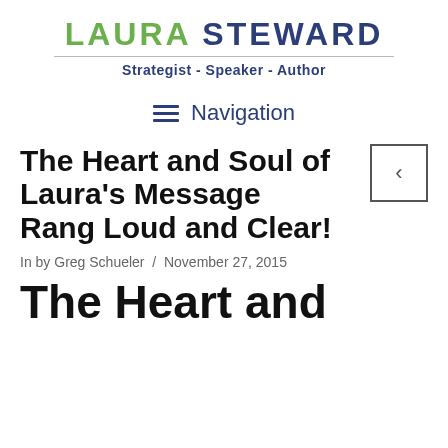LAURA STEWARD
Strategist - Speaker - Author
Navigation
The Heart and Soul of Laura's Message Rang Loud and Clear!
In by Greg Schueler / November 27, 2015
The Heart and